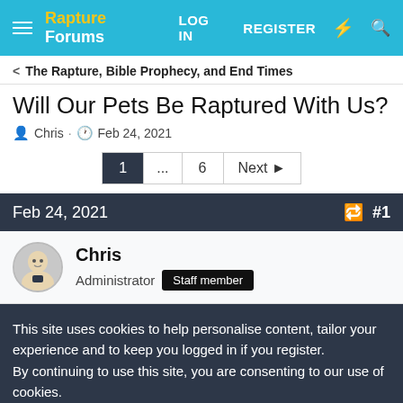Rapture Forums — LOG IN   REGISTER
< The Rapture, Bible Prophecy, and End Times
Will Our Pets Be Raptured With Us?
Chris · Feb 24, 2021
Pagination: 1 ... 6 Next ▶
Feb 24, 2021   #1
Chris
Administrator  Staff member
This site uses cookies to help personalise content, tailor your experience and to keep you logged in if you register.
By continuing to use this site, you are consenting to our use of cookies.
✓ Accept   Learn more...